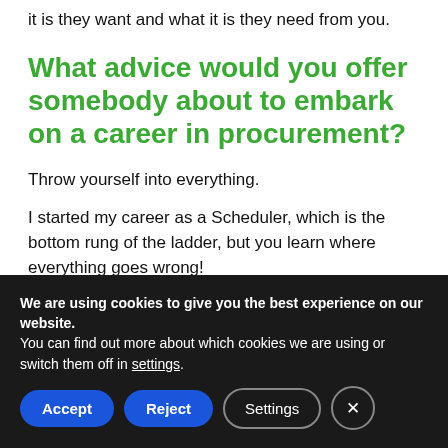it is they want and what it is they need from you.
What advice would you offer somebody about to embark on a career in procurement?
Throw yourself into everything.
I started my career as a Scheduler, which is the bottom rung of the ladder, but you learn where everything goes wrong!
We are using cookies to give you the best experience on our website.
You can find out more about which cookies we are using or switch them off in settings.